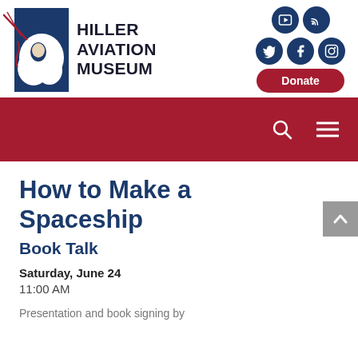[Figure (logo): Hiller Aviation Museum logo with a figure and stylized aircraft/wind imagery in blue and red]
HILLER AVIATION MUSEUM
[Figure (infographic): Social media icons: YouTube, podcast/RSS, Twitter, Facebook, Instagram — navy blue circles]
[Figure (other): Donate button — dark red rounded rectangle with white text]
[Figure (other): Dark red navigation bar with search icon and hamburger menu icon]
How to Make a Spaceship
Book Talk
Saturday, June 24
11:00 AM
Presentation and book signing by